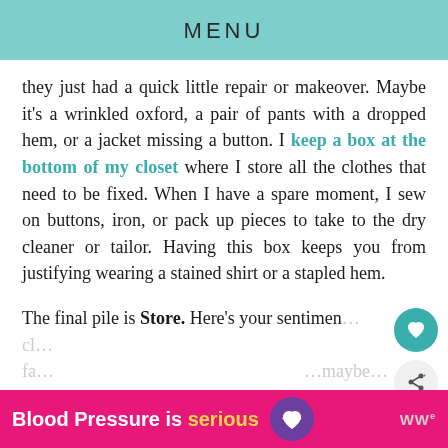MENU
they just had a quick little repair or makeover. Maybe it's a wrinkled oxford, a pair of pants with a dropped hem, or a jacket missing a button. I keep a box at the bottom of my closet where I store all the clothes that need to be fixed. When I have a spare moment, I sew on buttons, iron, or pack up pieces to take to the dry cleaner or tailor. Having this box keeps you from justifying wearing a stained shirt or a stapled hem.
The final pile is Store. Here's your sentimen... cl... fa... maybe...
[Figure (infographic): Pink advertisement banner: 'Blood Pressure is serious' with a purple heart icon with heartbeat lines, and a gray WW logo on the right]